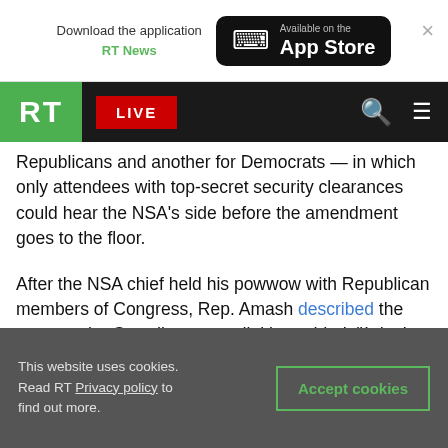Download the application RT News | Available on the App Store
[Figure (logo): RT (Russia Today) navigation bar with green RT logo, red LIVE button, search icon and hamburger menu]
Republicans and another for Democrats — in which only attendees with top-secret security clearances could hear the NSA's side before the amendment goes to the floor.
After the NSA chief held his powwow with Republican members of Congress, Rep. Amash described the event to the Guardian as cordial but added, "I don't believe anyone's mind was changed one way or the other."
Members of Congress, Amash tweeted early
This website uses cookies. Read RT Privacy policy to find out more. Accept cookies